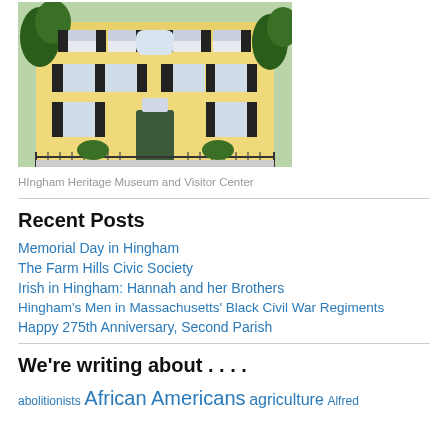[Figure (photo): Yellow colonial two-story building with black shutters — Hingham Heritage Museum and Visitor Center]
HIngham Heritage Museum and Visitor Center
Recent Posts
Memorial Day in Hingham
The Farm Hills Civic Society
Irish in Hingham: Hannah and her Brothers
Hingham's Men in Massachusetts' Black Civil War Regiments
Happy 275th Anniversary, Second Parish
We're writing about . . . .
abolitionists African Americans agriculture Alfred